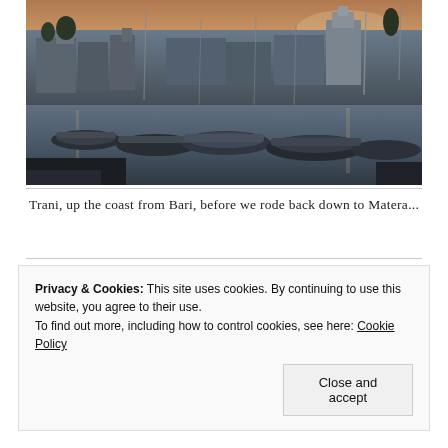[Figure (photo): Harbor scene at dusk or dawn showing boats/yachts moored in a marina, with historic buildings and a church silhouette visible in the background — Trani, Italy]
Trani, up the coast from Bari, before we rode back down to Matera...
Privacy & Cookies: This site uses cookies. By continuing to use this website, you agree to their use. To find out more, including how to control cookies, see here: Cookie Policy